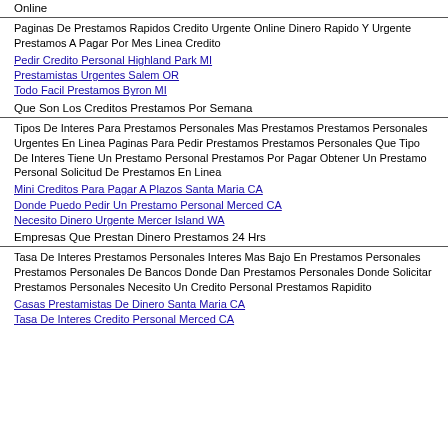Online
Paginas De Prestamos Rapidos Credito Urgente Online Dinero Rapido Y Urgente Prestamos A Pagar Por Mes Linea Credito
Pedir Credito Personal Highland Park MI
Prestamistas Urgentes Salem OR
Todo Facil Prestamos Byron MI
Que Son Los Creditos Prestamos Por Semana
Tipos De Interes Para Prestamos Personales Mas Prestamos Prestamos Personales Urgentes En Linea Paginas Para Pedir Prestamos Prestamos Personales Que Tipo De Interes Tiene Un Prestamo Personal Prestamos Por Pagar Obtener Un Prestamo Personal Solicitud De Prestamos En Linea
Mini Creditos Para Pagar A Plazos Santa Maria CA
Donde Puedo Pedir Un Prestamo Personal Merced CA
Necesito Dinero Urgente Mercer Island WA
Empresas Que Prestan Dinero Prestamos 24 Hrs
Tasa De Interes Prestamos Personales Interes Mas Bajo En Prestamos Personales Prestamos Personales De Bancos Donde Dan Prestamos Personales Donde Solicitar Prestamos Personales Necesito Un Credito Personal Prestamos Rapidito
Casas Prestamistas De Dinero Santa Maria CA
Tasa De Interes Credito Personal Merced CA